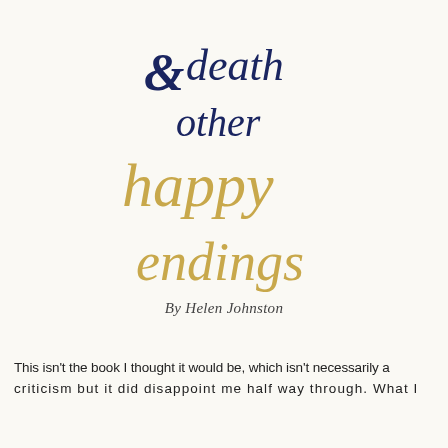[Figure (illustration): Book title logo: '& death other happy endings' in stylized calligraphy/script, with '& death other' in dark navy blue serif/script and 'happy endings' in gold cursive script]
By Helen Johnston
This isn't the book I thought it would be, which isn't necessarily a criticism but it did disappoint me half way through. What I